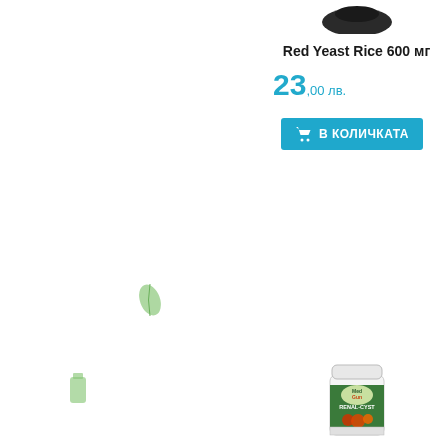[Figure (illustration): Left panel with hexagonal teal/light-blue grid pattern background and small green leaf and bottle decorative icons]
[Figure (photo): Product photo of Red Yeast Rice 600 mg supplement bottle, dark/black container, partially visible at top]
Red Yeast Rice 600 мг
23,00 лв.
В КОЛИЧКАТА
[Figure (photo): Product photo of RENAL-CYST supplement jar by MedGun, white jar with green label showing pomegranate/fruit imagery]
RENAL-CYST
20,00 лв.
В КОЛИЧКАТА